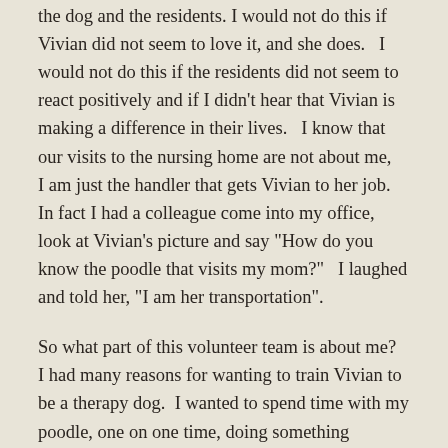the dog and the residents.  I would not do this if Vivian did not seem to love it, and she does.   I would not do this if the residents did not seem to react positively and if I didn't hear that Vivian is making a difference in their lives.   I know that our visits to the nursing home are not about me,   I am just the handler that gets Vivian to her job.   In fact I had a colleague come into my office, look at Vivian's picture and say "How do you know the poodle that visits my mom?"   I laughed and told her, "I am her transportation".
So what part of this volunteer team is about me?  I had many reasons for wanting to train Vivian to be a therapy dog.  I wanted to spend time with my poodle, one on one time, doing something positive yet with other people and dogs.  My first poodle was a grand dame, and we loved each other unconditionally, but I don't think I did her any favors keeping her to myself.  She had a great life and really blossomed when we married Greg and moved to the country to live with him and Jack, his Golden Retriever.  Poodles need people, they are as a